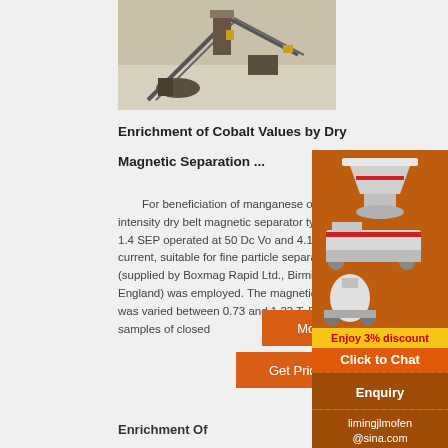[Figure (photo): Aerial view of a mining/quarry facility with conveyor belts and industrial equipment in a snowy/dusty environment]
Enrichment of Cobalt Values by Dry
Magnetic Separation ...
For beneficiation of manganese ore, high intensity dry belt magnetic separator type LOG 1.4 SEP operated at 50 Dc Vo and 4.17 Dc A current, suitable for fine particle separation, (supplied by Boxmag Rapid Ltd., Birmingham, England) was employed. The magnetic intensity was varied between 0.73 and 1.23 T. Dry samples of closed
[Figure (illustration): Orange sidebar advertisement showing mining machinery equipment (crusher, mobile plant, mill), with discount offer, chat button, enquiry section, and contact email limingjlmofen@sina.com]
Enrichment Of